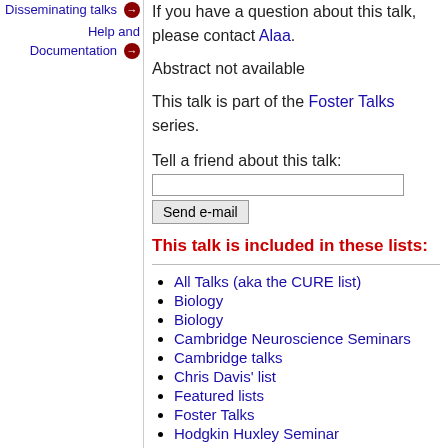Disseminating talks →
Help and Documentation →
If you have a question about this talk, please contact Alaa.
Abstract not available
This talk is part of the Foster Talks series.
Tell a friend about this talk:
This talk is included in these lists:
All Talks (aka the CURE list)
Biology
Biology
Cambridge Neuroscience Seminars
Cambridge talks
Chris Davis' list
Featured lists
Foster Talks
Hodgkin Huxley Seminar